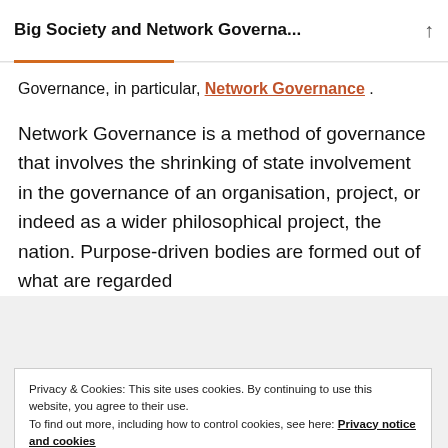Big Society and Network Governa...
Governance, in particular, Network Governance .
Network Governance is a method of governance that involves the shrinking of state involvement in the governance of an organisation, project, or indeed as a wider philosophical project, the nation. Purpose-driven bodies are formed out of what are regarded
Privacy & Cookies: This site uses cookies. By continuing to use this website, you agree to their use.
To find out more, including how to control cookies, see here: Privacy notice and cookies
Close and accept